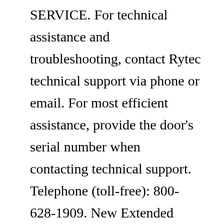SERVICE. For technical assistance and troubleshooting, contact Rytec technical support via phone or email. For most efficient assistance, provide the door's serial number when contacting technical support. Telephone (toll-free): 800-628-1909. New Extended Hours: Monday - Thursday 8am - 6pm (Central Time); Friday 8am - 5pm (Central Time) Wayne Dalton's customer service web page includes online documents include brochures, installation instructions